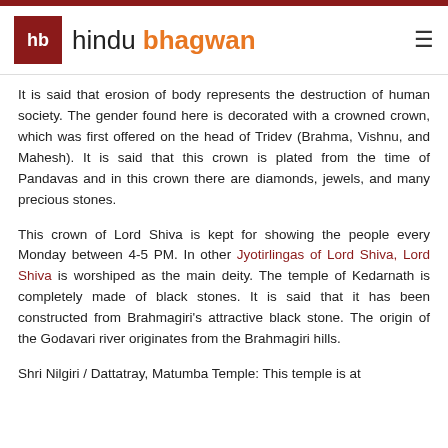hb hindu bhagwan
It is said that erosion of body represents the destruction of human society. The gender found here is decorated with a crowned crown, which was first offered on the head of Tridev (Brahma, Vishnu, and Mahesh). It is said that this crown is plated from the time of Pandavas and in this crown there are diamonds, jewels, and many precious stones.
This crown of Lord Shiva is kept for showing the people every Monday between 4-5 PM. In other Jyotirlingas of Lord Shiva, Lord Shiva is worshiped as the main deity. The temple of Kedarnath is completely made of black stones. It is said that it has been constructed from Brahmagiri's attractive black stone. The origin of the Godavari river originates from the Brahmagiri hills.
Shri Nilgiri / Dattatray, Matumba Temple: This temple is at